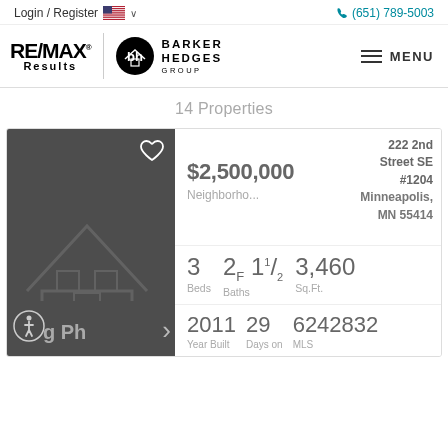Login / Register  🇺🇸 ∨    (651) 789-5003
[Figure (logo): RE/MAX Results logo and Barker Hedges Group logo with MENU navigation]
14 Properties
[Figure (photo): Dark grey property listing card image placeholder with house outline icon, accessibility icon, and photo navigation arrow]
222 2nd Street SE #1204 Minneapolis, MN 55414
$2,500,000
Neighborho...
3 Beds  2F 1½ Baths  3,460 Sq.Ft.
2011 Year Built  29 Days on  6242832 MLS